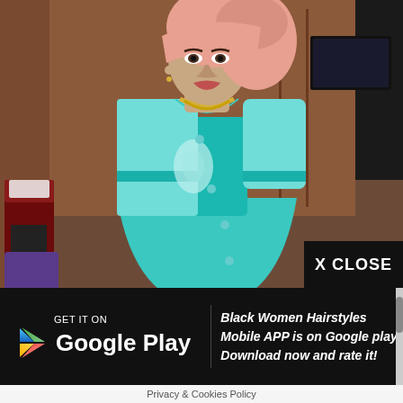[Figure (photo): A woman wearing a turquoise/teal lace outfit and a pink headwrap (gele), with a gold necklace, standing in what appears to be a hotel room with luggage in the background.]
X CLOSE
[Figure (logo): Google Play store badge with play triangle icon and text: GET IT ON Google Play]
Black Women Hairstyles Mobile APP is on Google play! Download now and rate it!
Privacy & Cookies Policy